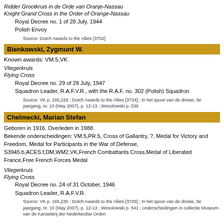Ridder Grootkruis in de Orde van Oranje-Nassau
Knight Grand Cross in the Order of Orange-Nassau
    Royal Decree no. 1 of 28 July, 1944
    Polish Envoy
Source: Dutch Awards to the Allies [3702]
Bienkowski, Zygmunt W.
Known awards: VM.5,VK
Vliegerkruis
Flying Cross
    Royal Decree no. 29 of 28 July, 1947
    Squadron Leader, R.A.F.V.R., with the R.A.F. no. 302 (Polish) Squadron
Source: VK p. 165,229 ; Dutch Awards to the Allies [3734] ; In het spoor van de divisie, 5e jaargang, nr. 10 (May 2007), p. 12-13 ; Wesolowski p. 536
Chelmecki, Marian Stefan
Geboren in 1916. Overleden in 1988.
Bekende onderscheidingen: VM.5,PR.5, Cross of Gallantry, ?, Medal for Victory and Freedom, Medal for Participants in the War of Defense, S3945.b,ACES.f,DM,WM2,VK,French Combattants Cross,Medal of Liberated France,Free French Forces Medal
Vliegerkruis
Flying Cross
    Royal Decree no. 24 of 31 October, 1946
    Squadron Leader, R.A.F.V.R.
Source: VK p. 165,230 ; Dutch Awards to the Allies [3729] ; In het spoor van de divisie, 5e jaargang, nr. 10 (May 2007), p. 12-13 ; Wesolowski p. 541 ; onderscheidingen in collectie Museum van de Kanselarij der Nederlandse Orden